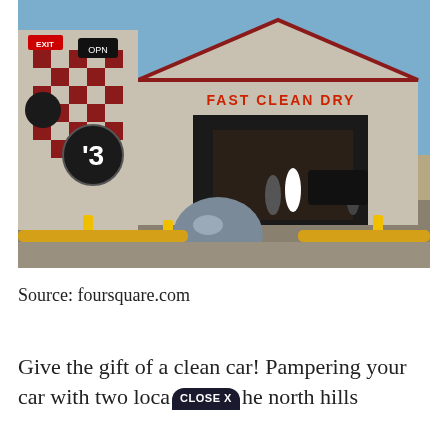[Figure (photo): Exterior photo of a car wash building with checkered red and white tower, large number '3' sign, 'FAST CLEAN DRY' signage in red on the building facade, people near entrance, yellow bollards in foreground, blue sky background.]
Source: foursquare.com
Give the gift of a clean car! Pampering your car with two locations in the north hills